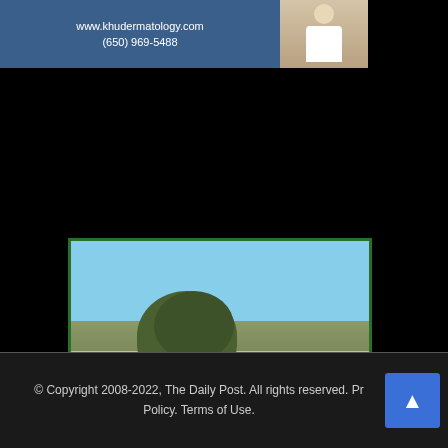[Figure (photo): Top advertisement banner for khu dermatology with blue background showing website and phone number, with photo of doctor in white coat and bowtie]
[Figure (photo): Alta Mesa Cemetery and Funeral Home advertisement with photo of building exterior (Spanish-style building with large oak tree), green border]
Alta Mesa Cemetery & Funeral Home
FD 2054
Offering Funeral, Cremation Services & Pre-Arrangements
695 Arastradero Road, Palo Alto
between El Camino Real & Foothill Expressway
(650) 493-1041
© Copyright 2008-2022, The Daily Post. All rights reserved. Privacy Policy. Terms of Use.